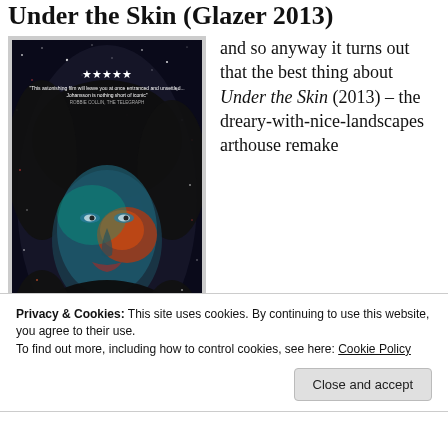Under the Skin (Glazer 2013)
[Figure (photo): Movie poster for Under the Skin (2013) showing a woman's face illuminated with blue and red light against a dark starry background, with 5-star review text overlay]
and so anyway it turns out that the best thing about Under the Skin (2013) – the dreary-with-nice-landscapes arthouse remake
Privacy & Cookies: This site uses cookies. By continuing to use this website, you agree to their use.
To find out more, including how to control cookies, see here: Cookie Policy
Close and accept